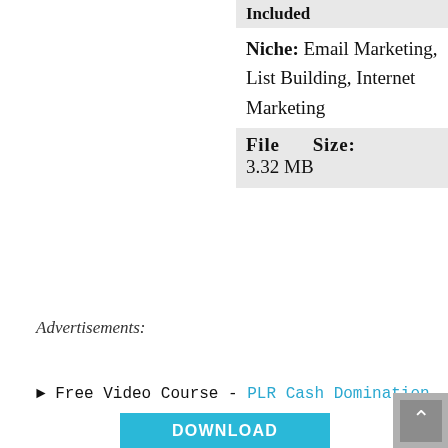Included
Niche: Email Marketing, List Building, Internet Marketing
File Size: 3.32 MB
Advertisements:
► Free Video Course - PLR Cash Domination
DOWNLOAD